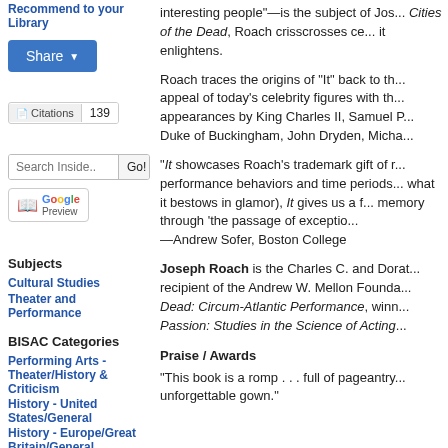Recommend to your Library
[Figure (screenshot): Blue Share button with dropdown arrow]
[Figure (screenshot): Citations badge showing 139]
[Figure (screenshot): Search Inside input with Go! button]
[Figure (logo): Google Preview button with book icon]
Subjects
Cultural Studies
Theater and Performance
BISAC Categories
Performing Arts - Theater/History & Criticism
History - United States/General
History - Europe/Great Britain/General
interesting people"—is the subject of Jos... Cities of the Dead, Roach crisscrosses ce... it enlightens.
Roach traces the origins of "It" back to th... appeal of today's celebrity figures with th... appearances by King Charles II, Samuel P... Duke of Buckingham, John Dryden, Micha...
"It showcases Roach's trademark gift of r... performance behaviors and time periods... what it bestows in glamor), It gives us a f... memory through 'the passage of exceptio... —Andrew Sofer, Boston College
Joseph Roach is the Charles C. and Dorat... recipient of the Andrew W. Mellon Founda... Dead: Circum-Atlantic Performance, winn... Passion: Studies in the Science of Acting...
Praise / Awards
"This book is a romp . . . full of pageantry... unforgettable gown."